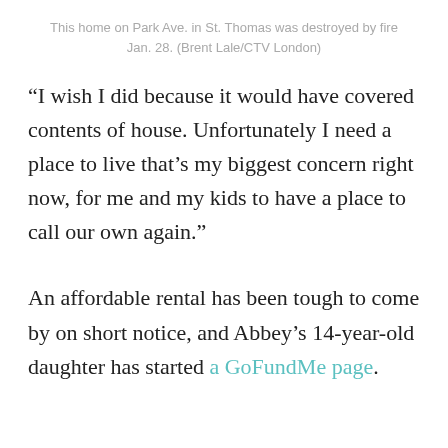This home on Park Ave. in St. Thomas was destroyed by fire Jan. 28. (Brent Lale/CTV London)
“I wish I did because it would have covered contents of house. Unfortunately I need a place to live that’s my biggest concern right now, for me and my kids to have a place to call our own again.”
An affordable rental has been tough to come by on short notice, and Abbey’s 14-year-old daughter has started a GoFundMe page.